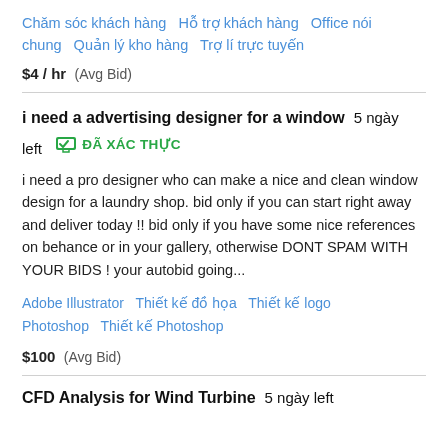Chăm sóc khách hàng   Hỗ trợ khách hàng   Office nói chung   Quản lý kho hàng   Trợ lí trực tuyến
$4 / hr  (Avg Bid)
i need a advertising designer for a window  5 ngày left  ĐÃ XÁC THỰC
i need a pro designer who can make a nice and clean window design for a laundry shop. bid only if you can start right away and deliver today !! bid only if you have some nice references on behance or in your gallery, otherwise DONT SPAM WITH YOUR BIDS ! your autobid going...
Adobe Illustrator   Thiết kế đồ họa   Thiết kế logo   Photoshop   Thiết kế Photoshop
$100  (Avg Bid)
CFD Analysis for Wind Turbine  5 ngày left